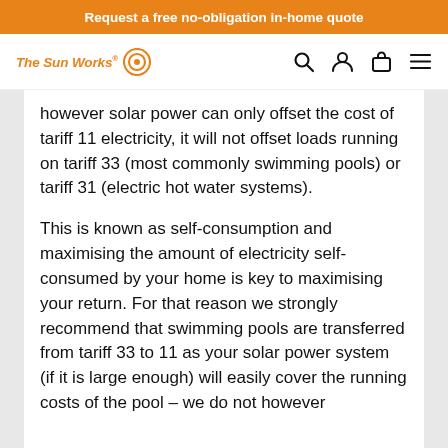Request a free no-obligation in-home quote
[Figure (logo): The Sun Works logo with orange circular target icon]
however solar power can only offset the cost of tariff 11 electricity, it will not offset loads running on tariff 33 (most commonly swimming pools) or tariff 31 (electric hot water systems).
This is known as self-consumption and maximising the amount of electricity self-consumed by your home is key to maximising your return. For that reason we strongly recommend that swimming pools are transferred from tariff 33 to 11 as your solar power system (if it is large enough) will easily cover the running costs of the pool – we do not however